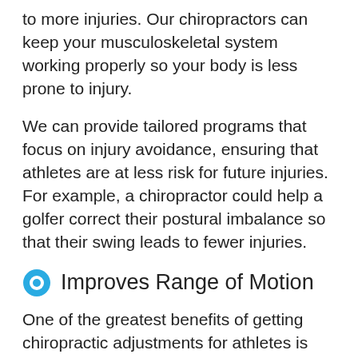to more injuries. Our chiropractors can keep your musculoskeletal system working properly so your body is less prone to injury.
We can provide tailored programs that focus on injury avoidance, ensuring that athletes are at less risk for future injuries. For example, a chiropractor could help a golfer correct their postural imbalance so that their swing leads to fewer injuries.
Improves Range of Motion
One of the greatest benefits of getting chiropractic adjustments for athletes is the improved range of motion. Because athletes put significant pressure on their bodies when training their physically intense activities can